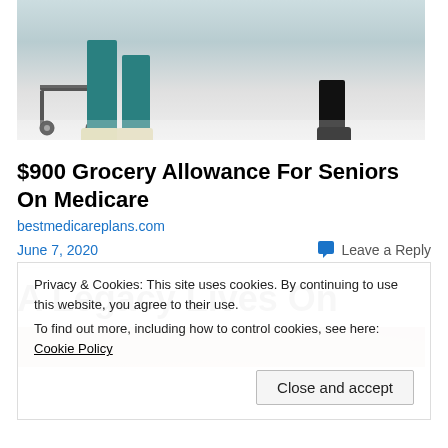[Figure (photo): Cropped photo showing the lower half of a person in teal/blue medical scrubs and white shoes next to a rolling cart on a shiny floor, and another person's black-booted feet visible]
$900 Grocery Allowance For Seniors On Medicare
bestmedicareplans.com
June 7, 2020
Leave a Reply
A Legacy Lives On
[Figure (photo): Partial photo of people, cropped — a strip at the bottom of the visible area]
Privacy & Cookies: This site uses cookies. By continuing to use this website, you agree to their use.
To find out more, including how to control cookies, see here: Cookie Policy
Close and accept